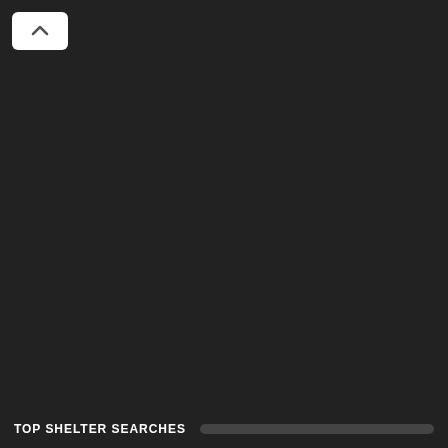[Figure (screenshot): White back button (chevron up/back arrow) on dark background, top-left corner of a mobile app interface]
TOP SHELTER SEARCHES